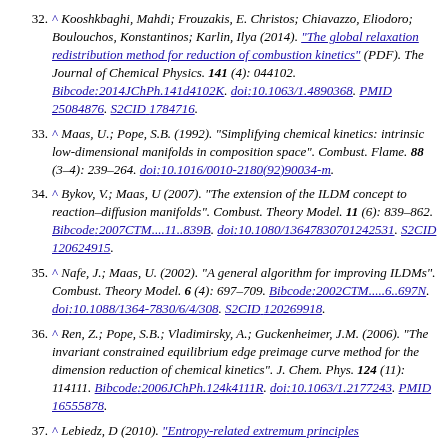32. ^ Kooshkbaghi, Mahdi; Frouzakis, E. Christos; Chiavazzo, Eliodoro; Boulouchos, Konstantinos; Karlin, Ilya (2014). "The global relaxation redistribution method for reduction of combustion kinetics" (PDF). The Journal of Chemical Physics. 141 (4): 044102. Bibcode:2014JChPh.141d4102K. doi:10.1063/1.4890368. PMID 25084876. S2CID 1784716.
33. ^ Maas, U.; Pope, S.B. (1992). "Simplifying chemical kinetics: intrinsic low-dimensional manifolds in composition space". Combust. Flame. 88 (3–4): 239–264. doi:10.1016/0010-2180(92)90034-m.
34. ^ Bykov, V.; Maas, U (2007). "The extension of the ILDM concept to reaction–diffusion manifolds". Combust. Theory Model. 11 (6): 839–862. Bibcode:2007CTM....11..839B. doi:10.1080/13647830701242531. S2CID 120624915.
35. ^ Nafe, J.; Maas, U. (2002). "A general algorithm for improving ILDMs". Combust. Theory Model. 6 (4): 697–709. Bibcode:2002CTM.....6..697N. doi:10.1088/1364-7830/6/4/308. S2CID 120269918.
36. ^ Ren, Z.; Pope, S.B.; Vladimirsky, A.; Guckenheimer, J.M. (2006). "The invariant constrained equilibrium edge preimage curve method for the dimension reduction of chemical kinetics". J. Chem. Phys. 124 (11): 114111. Bibcode:2006JChPh.124k4111R. doi:10.1063/1.2177243. PMID 16555878.
37. ^ Lebiedz, D (2010). "Entropy-related extremum principles…